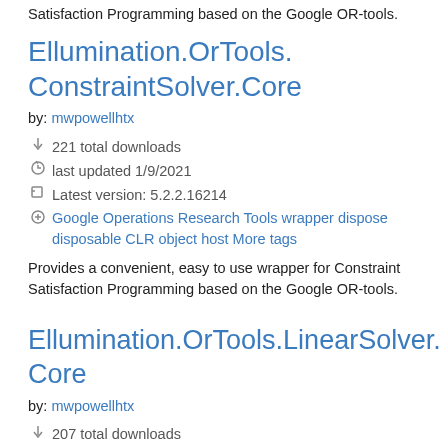Satisfaction Programming based on the Google OR-tools.
Ellumination.OrTools.ConstraintSolver.Core
by: mwpowellhtx
221 total downloads
last updated 1/9/2021
Latest version: 5.2.2.16214
Google Operations Research Tools wrapper dispose disposable CLR object host More tags
Provides a convenient, easy to use wrapper for Constraint Satisfaction Programming based on the Google OR-tools.
Ellumination.OrTools.LinearSolver.Core
by: mwpowellhtx
207 total downloads
last updated 1/9/2021
Latest version: 1.3.2.16210